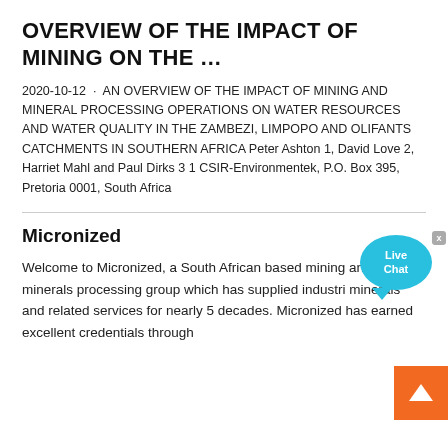OVERVIEW OF THE IMPACT OF MINING ON THE …
2020-10-12 · AN OVERVIEW OF THE IMPACT OF MINING AND MINERAL PROCESSING OPERATIONS ON WATER RESOURCES AND WATER QUALITY IN THE ZAMBEZI, LIMPOPO AND OLIFANTS CATCHMENTS IN SOUTHERN AFRICA Peter Ashton 1, David Love 2, Harriet Mahlangu and Paul Dirks 3 1 CSIR-Environmentek, P.O. Box 395, Pretoria 0001, South Africa
Micronized
Welcome to Micronized, a South African based mining and minerals processing group which has supplied industrial minerals and related services for nearly 5 decades. Micronized has earned excellent credentials through